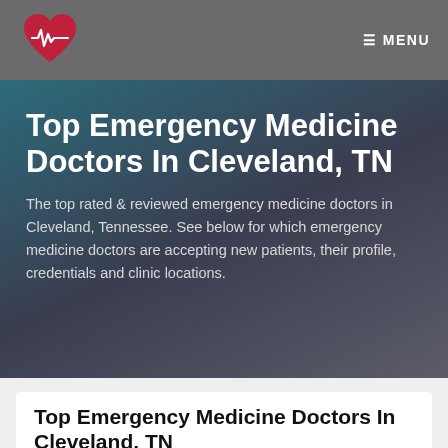☰ MENU
Top Emergency Medicine Doctors In Cleveland, TN
The top rated & reviewed emergency medicine doctors in Cleveland, Tennessee. See below for which emergency medicine doctors are accepting new patients, their profile, credentials and clinic locations.
Top Emergency Medicine Doctors In Cleveland, TN